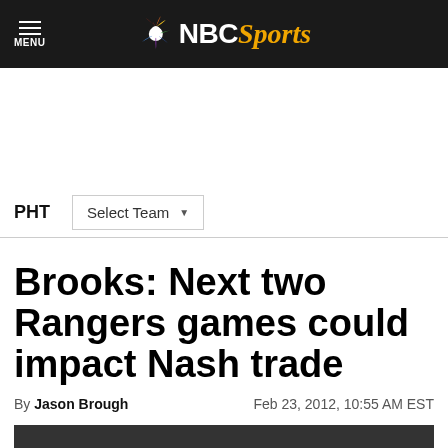NBC Sports
PHT  Select Team
Brooks: Next two Rangers games could impact Nash trade
By Jason Brough  Feb 23, 2012, 10:55 AM EST
[Figure (photo): Hockey player photo at bottom of article]